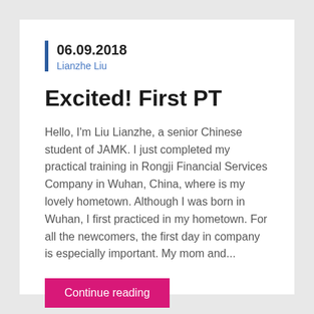06.09.2018
Lianzhe Liu
Excited! First PT
Hello, I'm Liu Lianzhe, a senior Chinese student of JAMK. I just completed my practical training in Rongji Financial Services Company in Wuhan, China, where is my lovely hometown. Although I was born in Wuhan, I first practiced in my hometown. For all the newcomers, the first day in company is especially important. My mom and...
Continue reading